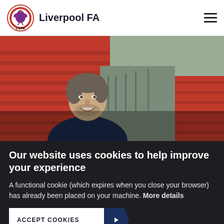Liverpool FA
[Figure (photo): Man smiling in front of red stadium seats at a football ground]
Our website uses cookies to help improve your experience
A functional cookie (which expires when you close your browser) has already been placed on your machine. More details
ACCEPT COOKIES